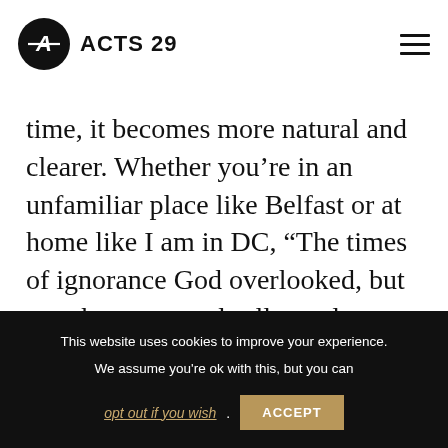ACTS 29
time, it becomes more natural and clearer. Whether you’re in an unfamiliar place like Belfast or at home like I am in DC, “The times of ignorance God overlooked, but now he commands all people everywhere to repent, because he has fixed a day on which he will
This website uses cookies to improve your experience. We assume you're ok with this, but you can opt out if you wish. ACCEPT